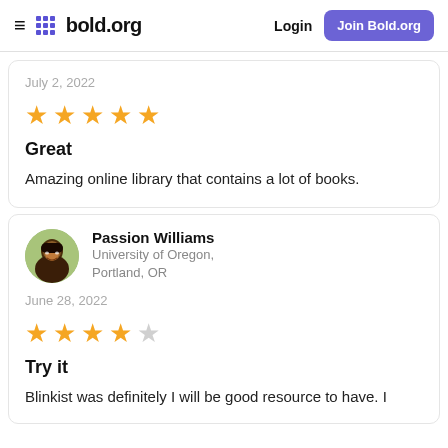bold.org | Login | Join Bold.org
July 2, 2022
[Figure (other): 5 out of 5 stars rating]
Great
Amazing online library that contains a lot of books.
Passion Williams
University of Oregon, Portland, OR
June 28, 2022
[Figure (other): 4 out of 5 stars rating]
Try it
Blinkist was definitely I will be good resource to have. I